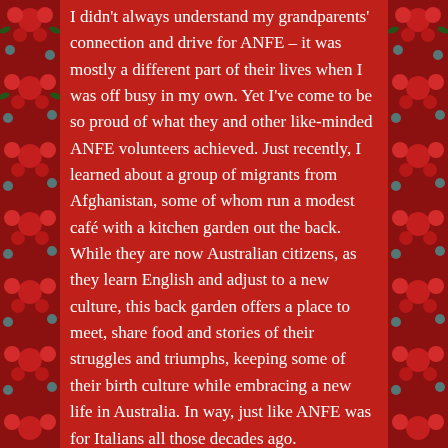I didn't always understand my grandparents' connection and drive for ANFE – it was mostly a different part of their lives when I was off busy in my own. Yet I've come to be so proud of what they and other like-minded ANFE volunteers achieved. Just recently, I learned about a group of migrants from Afghanistan, some of whom run a modest café with a kitchen garden out the back. While they are now Australian citizens, as they learn English and adjust to a new culture, this back garden offers a place to meet, share food and stories of their struggles and triumphs, keeping some of their birth culture while embracing a new life in Australia. In way, just like ANFE was for Italians all those decades ago.
Filed under inspiration + history   7 Comments
Tagged as 10 Wyandra Street, ANFE, ANFE Brisbane, Annibale Boccabella ANFE President, Associazione Nazionale Famiglie Emigrati, Brisbane buildings, Brisbane history, Brisbane migrant communities, Italian Australian stories, Italian migrant stories, Italian migrants Australia, Italian migrants Brisbane, lost Brisbane, National Association of Migrant Families, To off...